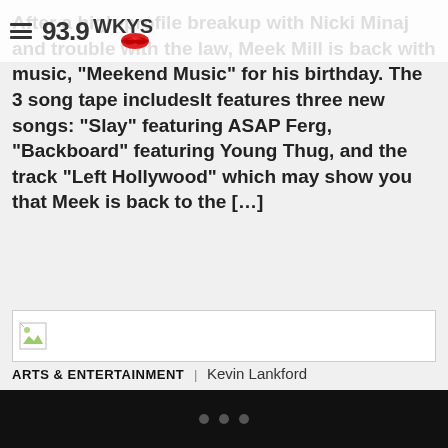93.9 WKYS
After a high-profile breakup with Nicki Minaj and trouble with the law, Meek Mill is back with music, "Meekend Music" for his birthday. The 3 song tape includesIt features three new songs: “Slay” featuring ASAP Ferg, “Backboard” featuring Young Thug, and the track “Left Hollywood” which may show you that Meek is back to the […]
[Figure (other): Broken image placeholder thumbnail]
ARTS & ENTERTAINMENT | Kevin Lankford